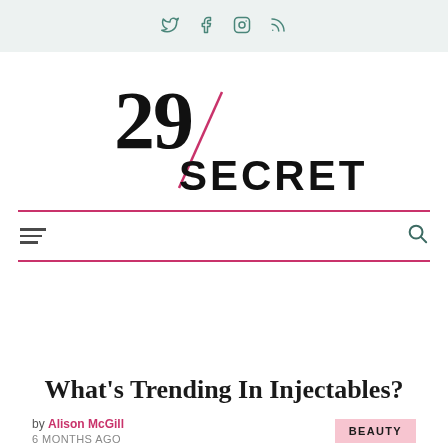Social icons: Twitter, Facebook, Instagram, RSS
[Figure (logo): 29Secrets logo with large stylized '29' in black with a red diagonal slash and 'SECRETS' in bold sans-serif below]
Navigation bar with hamburger menu and search icon
What’s Trending In Injectables?
by Alison McGill
6 MONTHS AGO
BEAUTY